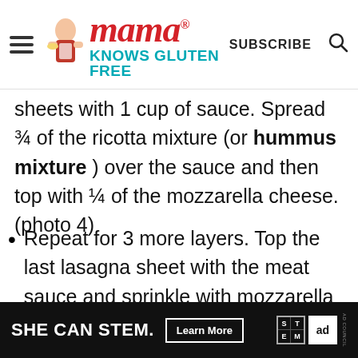Mama® KNOWS GLUTEN FREE — SUBSCRIBE
sheets with 1 cup of sauce. Spread ¾ of the ricotta mixture (or hummus mixture ) over the sauce and then top with ¼ of the mozzarella cheese. (photo 4)
Repeat for 3 more layers. Top the last lasagna sheet with the meat sauce and sprinkle with mozzarella cheese. (photos 5 & 6)
S...cover with foil...g...the
[Figure (other): SHE CAN STEM advertisement banner with Learn More button, STEM logo, and ad council badge]